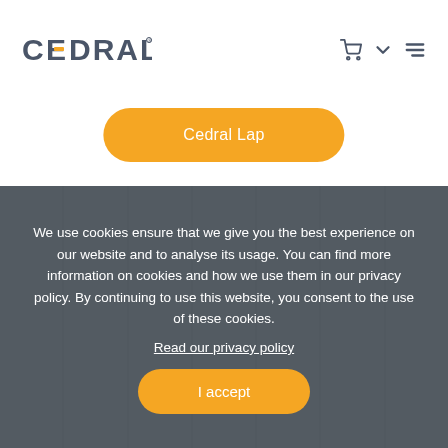[Figure (logo): CEDRAL logo with orange dot in E letter, dark grey text]
Cedral Lap
We use cookies ensure that we give you the best experience on our website and to analyse its usage. You can find more information on cookies and how we use them in our privacy policy. By continuing to use this website, you consent to the use of these cookies.
Read our privacy policy
I accept